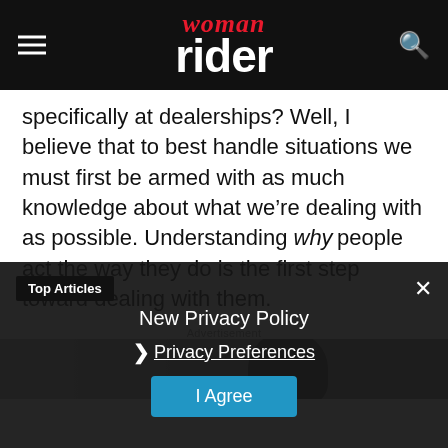woman rider
specifically at dealerships? Well, I believe that to best handle situations we must first be armed with as much knowledge about what we’re dealing with as possible. Understanding why people act the way they do is the first step toward dealing with them.
Advertisement
[Figure (photo): Advertisement image showing a motorcyclist wearing a helmet]
Top Articles
New Privacy Policy
Privacy Preferences
I Agree